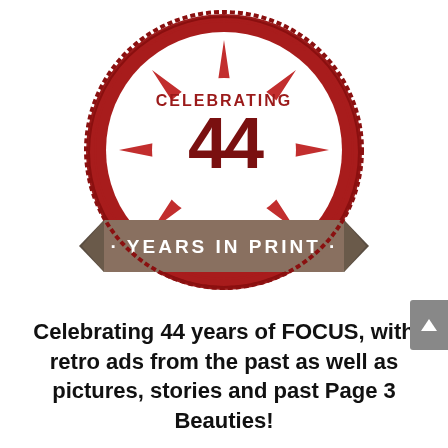[Figure (logo): Circular badge/seal in dark red with serrated edge and star design, ribbon banner across the middle. Text reads 'CELEBRATING' at top, '44' in large dark red numbers, 'YEARS IN PRINT' in white on a dark brown/grey ribbon banner.]
Celebrating 44 years of FOCUS, with retro ads from the past as well as pictures, stories and past Page 3 Beauties!
[Figure (other): Red rounded rectangle button with white bold text 'Show Me!']